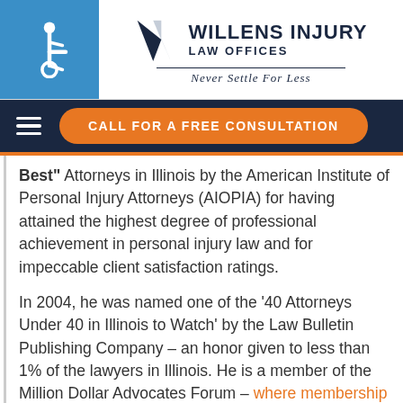[Figure (logo): Willens Injury Law Offices logo with accessibility icon, W emblem, firm name, and tagline 'Never Settle For Less']
CALL FOR A FREE CONSULTATION
Best” Attorneys in Illinois by the American Institute of Personal Injury Attorneys (AIOPIA) for having attained the highest degree of professional achievement in personal injury law and for impeccable client satisfaction ratings.

In 2004, he was named one of the ‘40 Attorneys Under 40 in Illinois to Watch’ by the Law Bulletin Publishing Company – an honor given to less than 1% of the lawyers in Illinois. He is a member of the Million Dollar Advocates Forum – where membership is limited to trial attorneys who have obtained million and multi-million dollar verdicts and settlements – where less than 1% of lawyers in